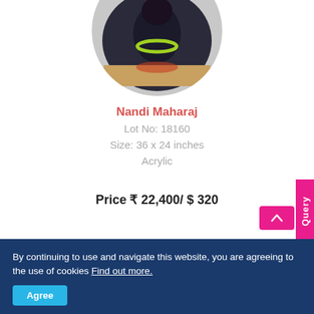[Figure (photo): Circular cropped photo of Nandi Maharaj artwork showing a deity figure in black with yellow-green garland]
Nandi Maharaj
Lot No: 18160
Size: 36 x 24 inches
Acrylic
Price ₹ 22,400/ $ 320
By continuing to use and navigate this website, you are agreeing to the use of cookies Find out more.